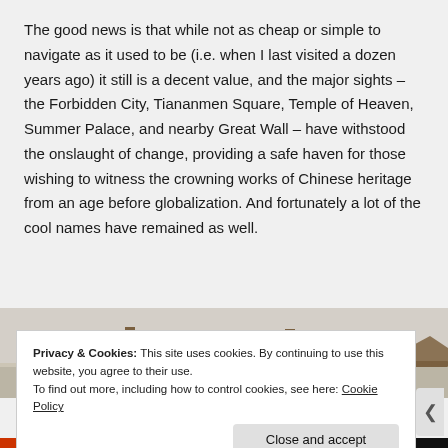The good news is that while not as cheap or simple to navigate as it used to be (i.e. when I last visited a dozen years ago) it still is a decent value, and the major sights – the Forbidden City, Tiananmen Square, Temple of Heaven, Summer Palace, and nearby Great Wall – have withstood the onslaught of change, providing a safe haven for those wishing to witness the crowning works of Chinese heritage from an age before globalization. And fortunately a lot of the cool names have remained as well.
[Figure (photo): Partial photo of traditional Chinese rooftop architecture, showing curved tile roofs of multiple buildings against a grey sky.]
Privacy & Cookies: This site uses cookies. By continuing to use this website, you agree to their use.
To find out more, including how to control cookies, see here: Cookie Policy